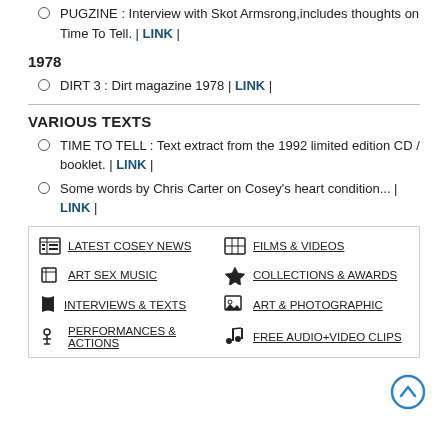PUGZINE : Interview with Skot Armsrong,includes thoughts on Time To Tell. | LINK |
1978
DIRT 3 : Dirt magazine 1978 | LINK |
VARIOUS TEXTS
TIME TO TELL : Text extract from the 1992 limited edition CD / booklet. | LINK |
Some words by Chris Carter on Cosey's heart condition... | LINK |
|  |  |
| --- | --- |
| LATEST COSEY NEWS | FILMS & VIDEOS |
| ART SEX MUSIC | COLLECTIONS & AWARDS |
| INTERVIEWS & TEXTS | ART & PHOTOGRAPHIC |
| PERFORMANCES & ACTIONS | FREE AUDIO+VIDEO CLIPS |